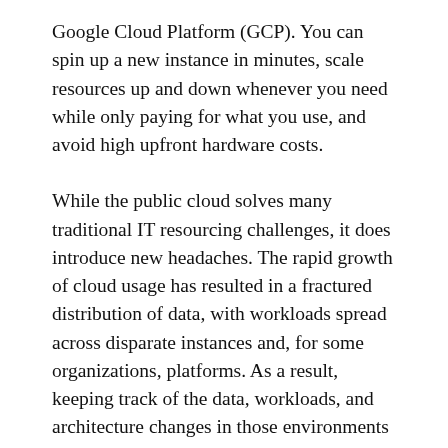Google Cloud Platform (GCP). You can spin up a new instance in minutes, scale resources up and down whenever you need while only paying for what you use, and avoid high upfront hardware costs.
While the public cloud solves many traditional IT resourcing challenges, it does introduce new headaches. The rapid growth of cloud usage has resulted in a fractured distribution of data, with workloads spread across disparate instances and, for some organizations, platforms. As a result, keeping track of the data, workloads, and architecture changes in those environments to keep everything secure is often a highly challenging task.